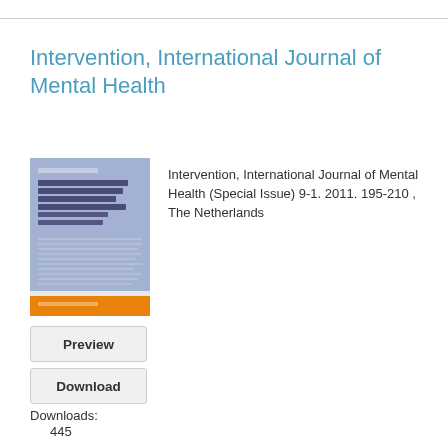Intervention, International Journal of Mental Health
[Figure (illustration): Journal cover of Intervention, International Journal of Mental Health, showing a blue/grey cover with text and an orange bar at the bottom]
Intervention, International Journal of Mental Health (Special Issue) 9-1. 2011. 195-210 , The Netherlands
Preview
Download
Downloads:
445